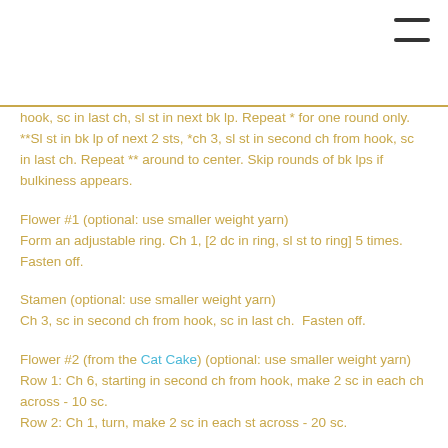hook, sc in last ch, sl st in next bk lp. Repeat * for one round only.  **Sl st in bk lp of next 2 sts, *ch 3, sl st in second ch from hook, sc in last ch. Repeat ** around to center. Skip rounds of bk lps if bulkiness appears.
Flower #1 (optional: use smaller weight yarn)
Form an adjustable ring. Ch 1, [2 dc in ring, sl st to ring] 5 times.  Fasten off.
Stamen (optional: use smaller weight yarn)
Ch 3, sc in second ch from hook, sc in last ch.  Fasten off.
Flower #2 (from the Cat Cake) (optional: use smaller weight yarn)
Row 1: Ch 6, starting in second ch from hook, make 2 sc in each ch across - 10 sc.
Row 2: Ch 1, turn, make 2 sc in each st across - 20 sc.